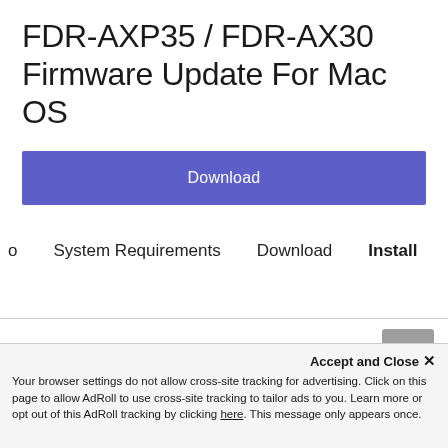FDR-AXP35 / FDR-AX30 Firmware Update For Mac OS
[Figure (other): Blue Download button]
o   System Requirements   Download   Install
Was this information helpful?
Accept and Close ✕
Your browser settings do not allow cross-site tracking for advertising. Click on this page to allow AdRoll to use cross-site tracking to tailor ads to you. Learn more or opt out of this AdRoll tracking by clicking here. This message only appears once.